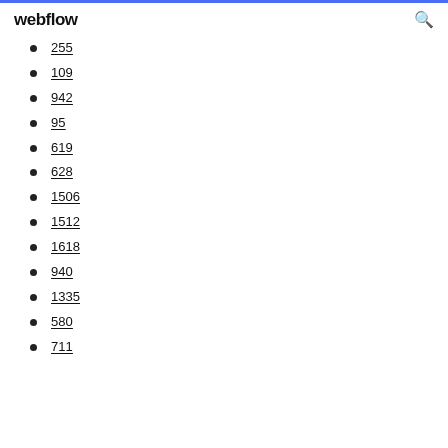webflow
255
109
942
95
619
628
1506
1512
1618
940
1335
580
711